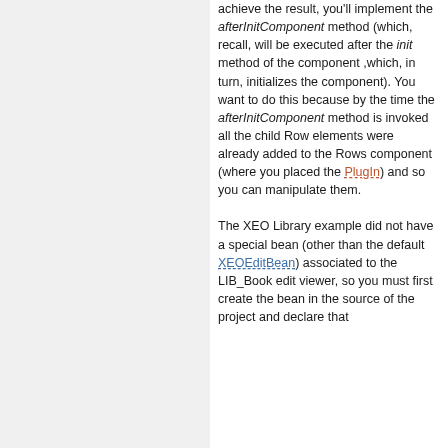achieve the result, you'll implement the afterInitComponent method (which, recall, will be executed after the init method of the component ,which, in turn, initializes the component). You want to do this because by the time the afterInitComponent method is invoked all the child Row elements were already added to the Rows component (where you placed the PlugIn) and so you can manipulate them.
The XEO Library example did not have a special bean (other than the default XEOEditBean) associated to the LIB_Book edit viewer, so you must first create the bean in the source of the project and declare that